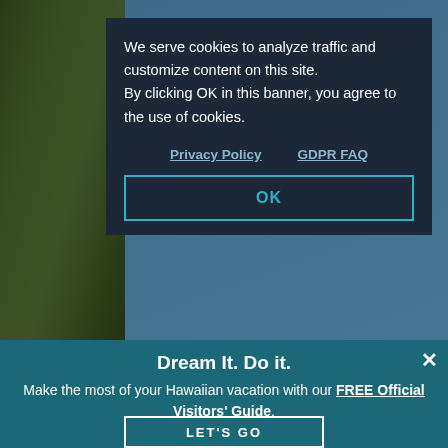[Figure (photo): Hawaiian coastal landscape with rocky cliffs covered in green vegetation on the left and blue ocean water in the background. The scene is partially obscured by overlaid UI elements.]
We serve cookies to analyze traffic and customize content on this site. By clicking OK in this banner, you agree to the use of cookies.
Privacy Policy    GDPR FAQ
OK
Tal [partially obscured] of the thrills, beauty, culture, history and more.
Dream It. Do it.
Make the most of your Hawaiian vacation with our FREE Official Visitors' Guide.
LET'S GO